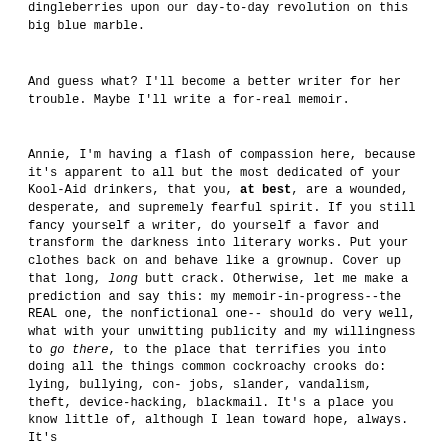dingleberries upon our day-to-day revolution on this big blue marble.
And guess what? I'll become a better writer for her trouble. Maybe I'll write a for-real memoir.
Annie, I'm having a flash of compassion here, because it's apparent to all but the most dedicated of your Kool-Aid drinkers, that you, at best, are a wounded, desperate, and supremely fearful spirit. If you still fancy yourself a writer, do yourself a favor and transform the darkness into literary works. Put your clothes back on and behave like a grownup. Cover up that long, long butt crack. Otherwise, let me make a prediction and say this: my memoir-in-progress--the REAL one, the nonfictional one--should do very well, what with your unwitting publicity and my willingness to go there, to the place that terrifies you into doing all the things common cockroachy crooks do: lying, bullying, con-jobs, slander, vandalism, theft, device-hacking, blackmail. It's a place you know little of, although I lean toward hope, always. It's